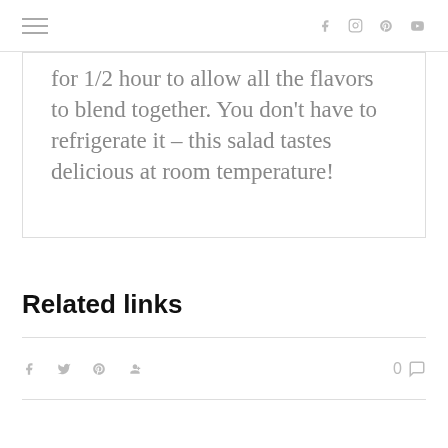Navigation bar with hamburger menu and social icons (f, instagram, pinterest, youtube)
for 1/2 hour to allow all the flavors to blend together. You don't have to refrigerate it – this salad tastes delicious at room temperature!
Related links
Social share icons: f, twitter, pinterest, G+  |  0 comments